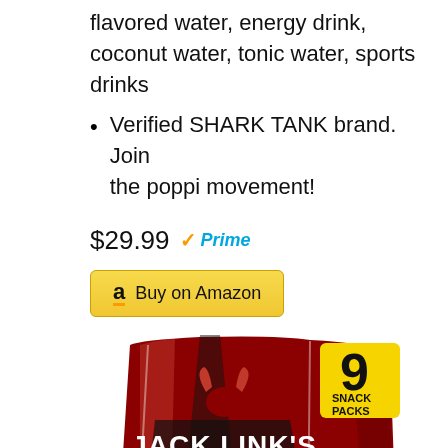flavored water, energy drink, coconut water, tonic water, sports drinks
Verified SHARK TANK brand. Join the poppi movement!
$29.99 Prime
Buy on Amazon
[Figure (photo): Jack Link's Meat Snacks 9 Snack Packs bag - red and black packaging with bull logo, text reads JACK LINK'S MEAT SNACKS, ORIGINAL]